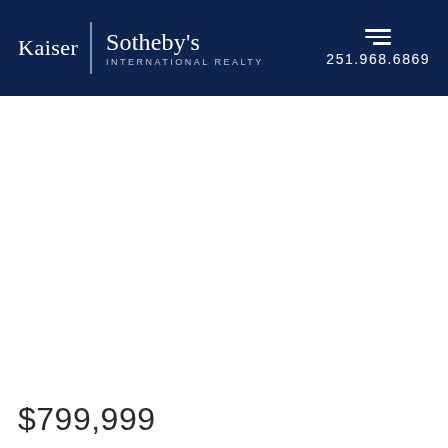Kaiser | Sotheby's International Realty  251.968.6869
$799,999